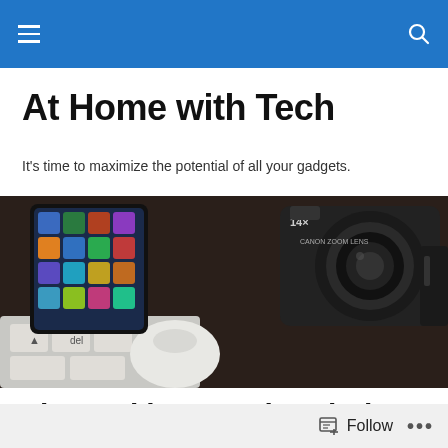At Home with Tech — navigation bar
At Home with Tech
It's time to maximize the potential of all your gadgets.
[Figure (photo): Close-up photo of tech gadgets including a smartphone showing app icons, a Canon digital camera with zoom lens, a white computer mouse, and keyboard keys on a dark surface.]
The Parking Warrior Finds Salvation with PayByPhone
Follow  •••